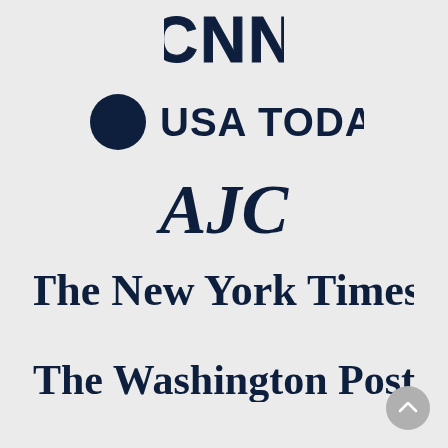[Figure (logo): CNN logo in dark navy blue block letters with outline style]
[Figure (logo): USA TODAY logo with dark circle bullet and bold sans-serif text]
[Figure (logo): AJC logo in large bold serif dark navy letters]
[Figure (logo): The New York Times logo in blackletter/Old English style dark navy font]
[Figure (logo): The Washington Post logo in blackletter/Old English style dark navy font]